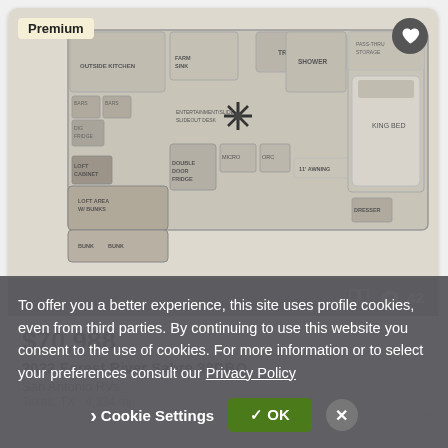[Figure (schematic): RV floor plan for 2022 Forest River Sabre 38DBQ showing layout with king bed, shower, tri-fold sofa, loft area with bunks, outside kitchen, double door fridge, farm sink, pass-thru storage, and other features. Labeled 'Premium'.]
42
$70,988
2022 Forest River Sabre 38DBQ
San Antonio RVs
Texas, TX · 4,334 mi
To offer you a better experience, this site uses profile cookies, even from third parties. By continuing to use this website you consent to the use of cookies. For more information or to select your preferences consult our Privacy Policy
Cookie Settings
✓ OK